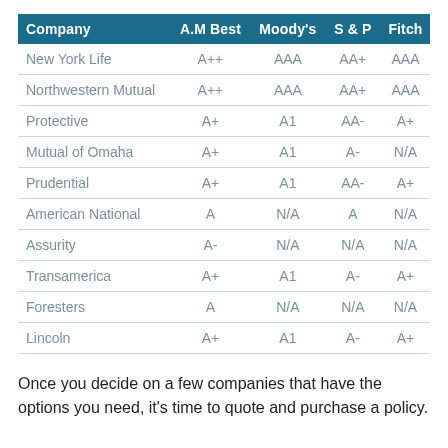| Company | A.M Best | Moody's | S & P | Fitch |
| --- | --- | --- | --- | --- |
| New York Life | A++ | AAA | AA+ | AAA |
| Northwestern Mutual | A++ | AAA | AA+ | AAA |
| Protective | A+ | A1 | AA- | A+ |
| Mutual of Omaha | A+ | A1 | A- | N/A |
| Prudential | A+ | A1 | AA- | A+ |
| American National | A | N/A | A | N/A |
| Assurity | A- | N/A | N/A | N/A |
| Transamerica | A+ | A1 | A- | A+ |
| Foresters | A | N/A | N/A | N/A |
| Lincoln | A+ | A1 | A- | A+ |
Once you decide on a few companies that have the options you need, it's time to quote and purchase a policy.